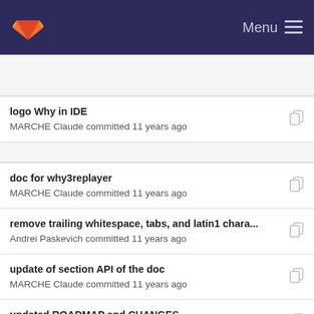GitLab Menu
logo Why in IDE
MARCHE Claude committed 11 years ago
doc for why3replayer
MARCHE Claude committed 11 years ago
remove trailing whitespace, tabs, and latin1 chara...
Andrei Paskevich committed 11 years ago
update of section API of the doc
MARCHE Claude committed 11 years ago
updated ROADMAP and CHANGES
Jean-Christophe Filliâtre committed 11 years ago
doc: update of getting started with IDE, part 1
MARCHE Claude committed 11 years ago